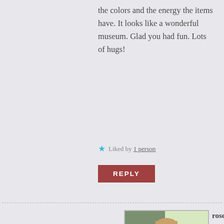the colors and the energy the items have. It looks like a wonderful museum. Glad you had fun. Lots of hugs!
★ Liked by 1 person
REPLY
[Figure (photo): Avatar photo of rosemaylily2014, a woman sitting indoors]
rosemaylily2014 says: They are so beautiful aren't they Lucy? Yes the colours are similar
July 31, 2015 at 10:28 am
to the colours you would expect to find in Morocco (not that I've ever